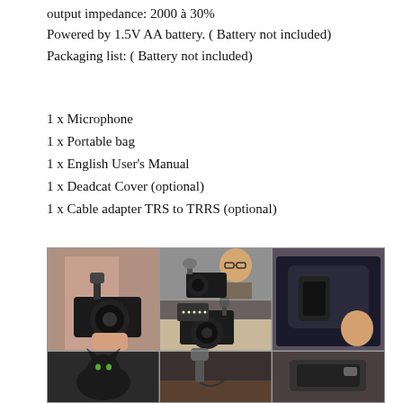output impedance: 2000 à 30%
Powered by 1.5V AA battery. ( Battery not included)
Packaging list: ( Battery not included)
1 x Microphone
1 x Portable bag
1 x English User's Manual
1 x Deadcat Cover (optional)
1 x Cable adapter TRS to TRRS (optional)
[Figure (photo): Grid of six product photos showing microphone attached to camera, person using microphone on camera, camera with LED light and microphone, product in box packaging with thumbs up, cat, and microphone accessories.]